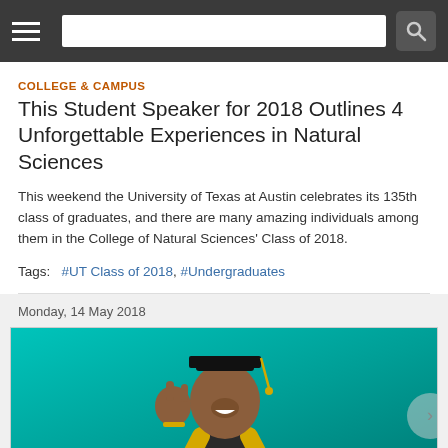Navigation bar with hamburger menu, search field, and search button
COLLEGE & CAMPUS
This Student Speaker for 2018 Outlines 4 Unforgettable Experiences in Natural Sciences
This weekend the University of Texas at Austin celebrates its 135th class of graduates, and there are many amazing individuals among them in the College of Natural Sciences' Class of 2018.
Tags:   #UT Class of 2018, #Undergraduates
Monday, 14 May 2018
[Figure (photo): A smiling male graduate wearing a black graduation gown and cap with a gold tassel, making the 'hook 'em horns' hand gesture, wearing a gold and black striped stole, posed against a teal/turquoise background.]